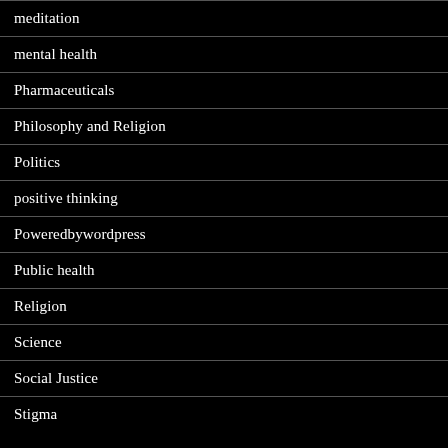meditation
mental health
Pharmaceuticals
Philosophy and Religion
Politics
positive thinking
Poweredbywordpress
Public health
Religion
Science
Social Justice
Stigma